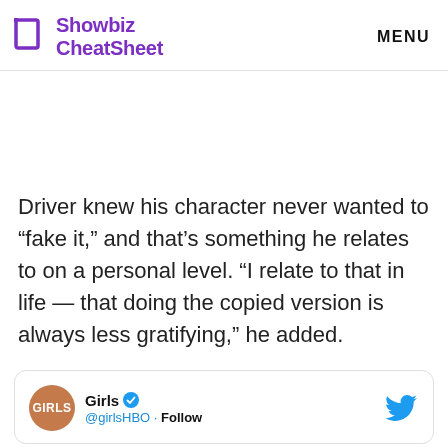Showbiz CheatSheet | MENU
Driver knew his character never wanted to “fake it,” and that’s something he relates to on a personal level. “I relate to that in life — that doing the copied version is always less gratifying,” he added.
[Figure (screenshot): Tweet card from Girls (@girlsHBO) with verified badge and Twitter bird logo]